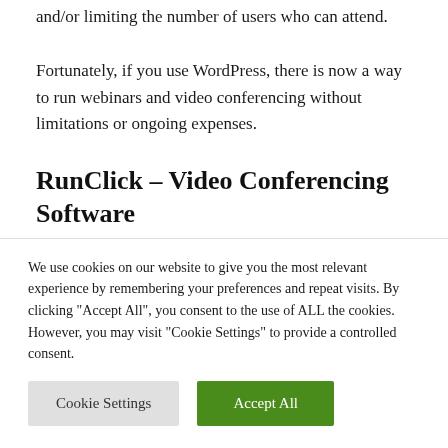and/or limiting the number of users who can attend.
Fortunately, if you use WordPress, there is now a way to run webinars and video conferencing without limitations or ongoing expenses.
RunClick – Video Conferencing Software
We use cookies on our website to give you the most relevant experience by remembering your preferences and repeat visits. By clicking "Accept All", you consent to the use of ALL the cookies. However, you may visit "Cookie Settings" to provide a controlled consent.